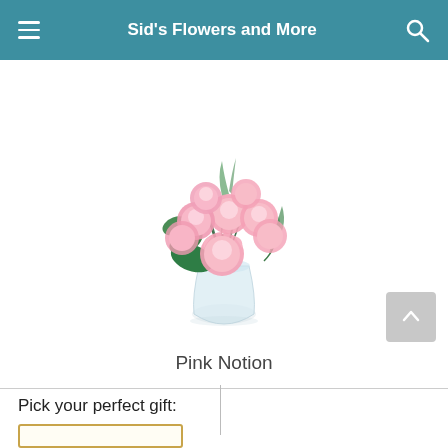Sid's Flowers and More
[Figure (photo): A bouquet of pink carnations with green foliage arranged in a clear glass vase, shown on a white background. Product is called Pink Notion.]
Pink Notion
Pick your perfect gift: